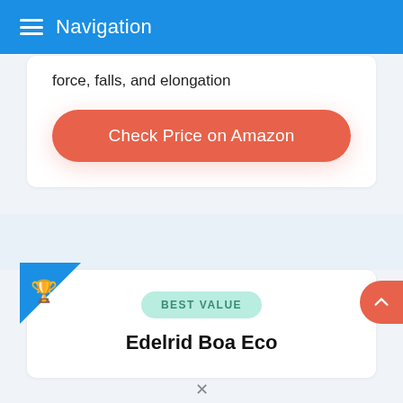Navigation
force, falls, and elongation
Check Price on Amazon
BEST VALUE
Edelrid Boa Eco